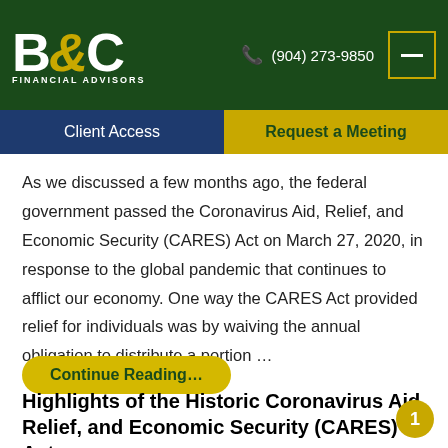[Figure (logo): B&C Financial Advisors logo on dark green background with phone number (904) 273-9850 and menu button]
Client Access | Request a Meeting
As we discussed a few months ago, the federal government passed the Coronavirus Aid, Relief, and Economic Security (CARES) Act on March 27, 2020, in response to the global pandemic that continues to afflict our economy. One way the CARES Act provided relief for individuals was by waiving the annual obligation to distribute a portion …
Continue Reading...
Highlights of the Historic Coronavirus Aid, Relief, and Economic Security (CARES) Act